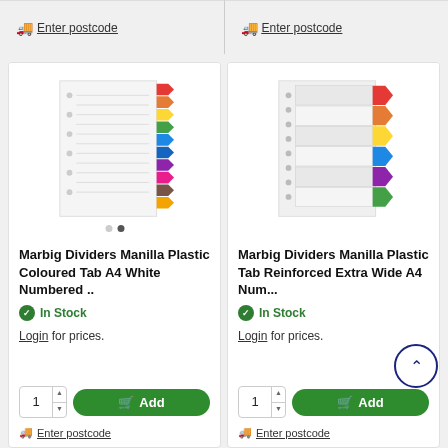= Enter postcode
= Enter postcode
[Figure (photo): Marbig Dividers Manilla Plastic Coloured Tab A4 White Numbered product image showing divider sheets with colored chevron tabs]
Marbig Dividers Manilla Plastic Coloured Tab A4 White Numbered ..
In Stock
Login for prices.
[Figure (photo): Marbig Dividers Manilla Plastic Tab Reinforced Extra Wide A4 Num... product image showing divider sheets with colored arrow tabs]
Marbig Dividers Manilla Plastic Tab Reinforced Extra Wide A4 Num...
In Stock
Login for prices.
= Enter postcode
= Enter postcode